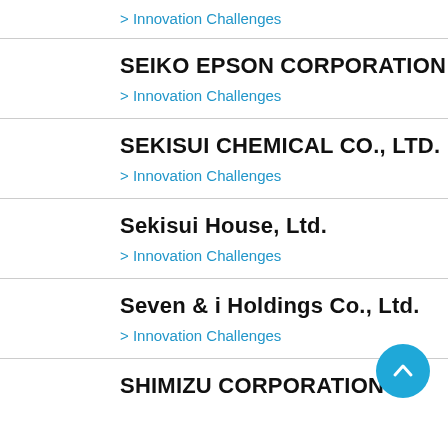> Innovation Challenges
SEIKO EPSON CORPORATION
> Innovation Challenges
SEKISUI CHEMICAL CO., LTD.
> Innovation Challenges
Sekisui House, Ltd.
> Innovation Challenges
Seven & i Holdings Co., Ltd.
> Innovation Challenges
SHIMIZU CORPORATION